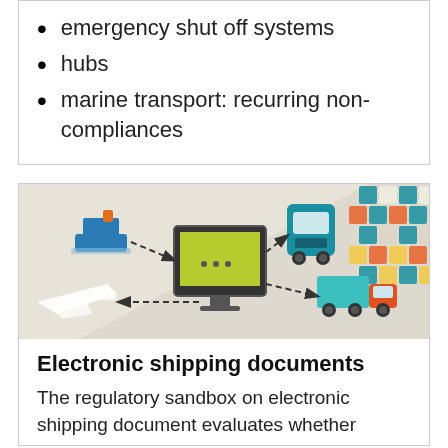emergency shut off systems
hubs
marine transport: recurring non-compliances
[Figure (infographic): Infographic showing electronic shipping/logistics flow between a ship, computer monitor, train, and truck connected by dashed arrows, with a decorative geometric pattern in the top right corner and a white airplane silhouette in the lower left.]
Electronic shipping documents
The regulatory sandbox on electronic shipping document evaluates whether